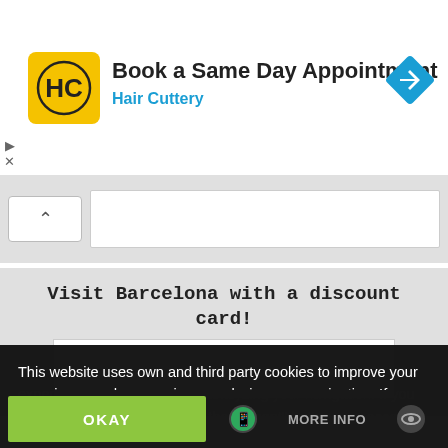[Figure (screenshot): Hair Cuttery ad banner with yellow logo icon, 'Book a Same Day Appointment' title, 'Hair Cuttery' subtitle in blue, and a blue navigation diamond icon on the right]
[Figure (screenshot): Website UI elements: up arrow button and white content box on grey background]
Visit Barcelona with a discount card!
[Figure (screenshot): White image placeholder box within grey Barcelona section]
This website uses own and third party cookies to improve your experience and our services, analyzing your navigation. If you continue browsing or click on the "Accept" button, you accept their use. You can prevent its installation, although it may cause navigation difficulties.
OKAY
MORE INFO